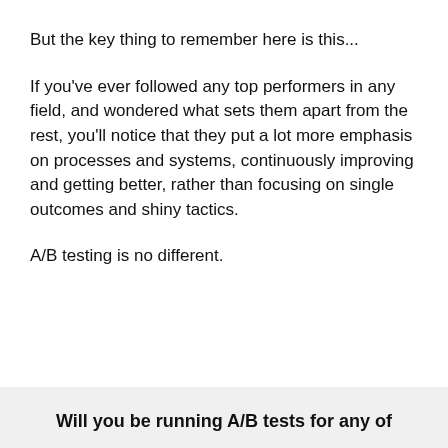But the key thing to remember here is this...
If you've ever followed any top performers in any field, and wondered what sets them apart from the rest, you'll notice that they put a lot more emphasis on processes and systems, continuously improving and getting better, rather than focusing on single outcomes and shiny tactics.
A/B testing is no different.
Will you be running A/B tests for any of